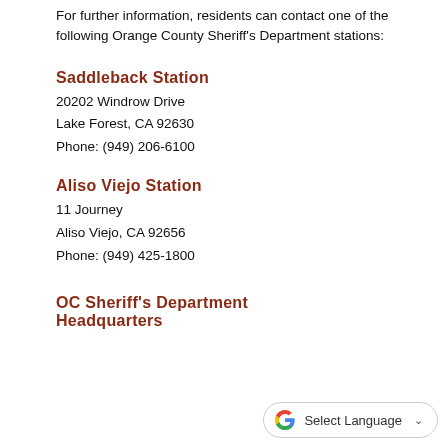For further information, residents can contact one of the following Orange County Sheriff's Department stations:
Saddleback Station
20202 Windrow Drive
Lake Forest, CA 92630
Phone: (949) 206-6100
Aliso Viejo Station
11 Journey
Aliso Viejo, CA 92656
Phone: (949) 425-1800
OC Sheriff's Department Headquarters